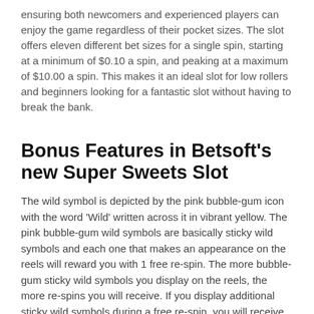ensuring both newcomers and experienced players can enjoy the game regardless of their pocket sizes. The slot offers eleven different bet sizes for a single spin, starting at a minimum of $0.10 a spin, and peaking at a maximum of $10.00 a spin. This makes it an ideal slot for low rollers and beginners looking for a fantastic slot without having to break the bank.
Bonus Features in Betsoft's new Super Sweets Slot
The wild symbol is depicted by the pink bubble-gum icon with the word 'Wild' written across it in vibrant yellow. The pink bubble-gum wild symbols are basically sticky wild symbols and each one that makes an appearance on the reels will reward you with 1 free re-spin. The more bubble-gum sticky wild symbols you display on the reels, the more re-spins you will receive. If you display additional sticky wild symbols during a free re-spin, you will receive extra re-spins. In fact, you can earn up to 9 re-spins through the Super Sticky Wilds feature.